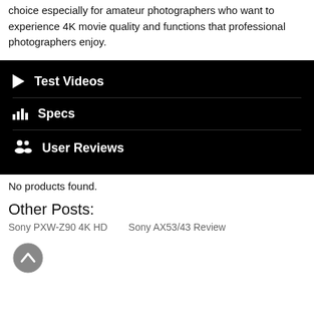choice especially for amateur photographers who want to experience 4K movie quality and functions that professional photographers enjoy.
[Figure (screenshot): Dark panel with three menu items: Test Videos (play icon), Specs (bar chart icon), User Reviews (people icon)]
No products found.
Other Posts:
Sony PXW-Z90 4K HD
Sony AX53/43 Review
[Figure (other): Back to top circular button with upward chevron arrow]